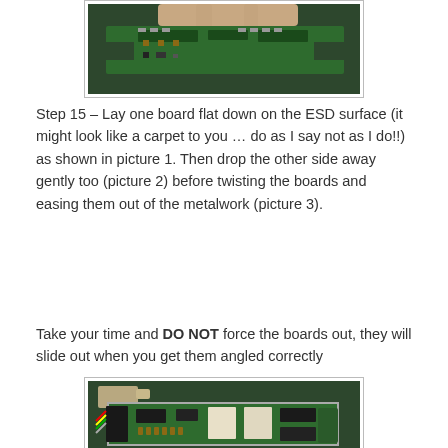[Figure (photo): Hand holding a green PCB (circuit board) above a dark green ESD surface, showing the board being lifted/removed]
Step 15 – Lay one board flat down on the ESD surface (it might look like a carpet to you … do as I say not as I do!!) as shown in picture 1. Then drop the other side away gently too (picture 2) before twisting the boards and easing them out of the metalwork (picture 3).
Take your time and DO NOT force the boards out, they will slide out when you get them angled correctly
[Figure (photo): Circuit board removed from metalwork chassis, showing green PCB with components laid flat on a dark ESD surface, with metal enclosure nearby]